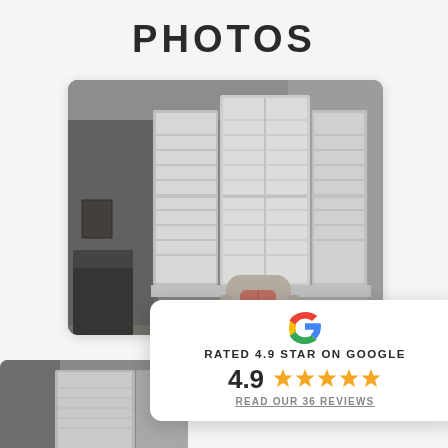PHOTOS
[Figure (photo): Interior room photo showing a bay window with white plantation shutters and a chair with a cushion in the foreground, dim lighting]
[Figure (infographic): Google rating card showing G logo, 'RATED 4.9 STAR ON GOOGLE', score 4.9 with 5 gold stars, and link 'READ OUR 36 REVIEWS']
[Figure (photo): Partial second interior photo showing a room with shuttered windows]